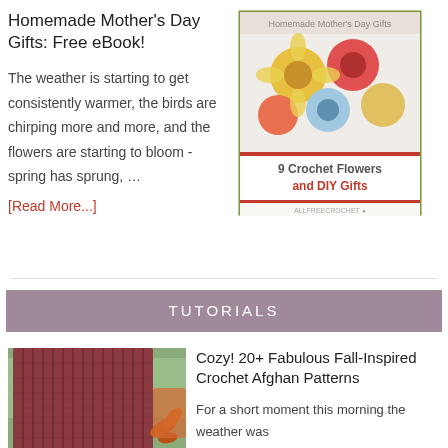Homemade Mother's Day Gifts: Free eBook!
[Figure (photo): Book cover showing crochet flowers with text 'Homemade Mother's Day Gifts' and '9 Crochet Flowers and DIY Gifts']
The weather is starting to get consistently warmer, the birds are chirping more and more, and the flowers are starting to bloom - spring has sprung, …
[Read More...]
TUTORIALS
[Figure (photo): A dark red/maroon knit or crochet afghan blanket draped over a light green couch with orange leaf decorations visible]
Cozy! 20+ Fabulous Fall-Inspired Crochet Afghan Patterns
For a short moment this morning the weather was